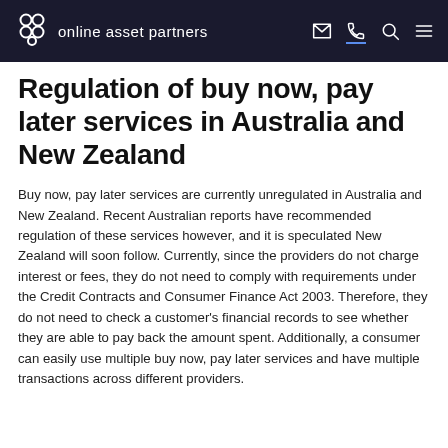online asset partners
Regulation of buy now, pay later services in Australia and New Zealand
Buy now, pay later services are currently unregulated in Australia and New Zealand. Recent Australian reports have recommended regulation of these services however, and it is speculated New Zealand will soon follow. Currently, since the providers do not charge interest or fees, they do not need to comply with requirements under the Credit Contracts and Consumer Finance Act 2003. Therefore, they do not need to check a customer's financial records to see whether they are able to pay back the amount spent. Additionally, a consumer can easily use multiple buy now, pay later services and have multiple transactions across different providers.